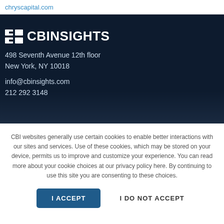chryscapital.com
[Figure (logo): CB Insights logo with icon and text on dark navy background]
498 Seventh Avenue 12th floor
New York, NY 10018
info@cbinsights.com
212 292 3148
CBI websites generally use certain cookies to enable better interactions with our sites and services. Use of these cookies, which may be stored on your device, permits us to improve and customize your experience. You can read more about your cookie choices at our privacy policy here. By continuing to use this site you are consenting to these choices.
I ACCEPT | I DO NOT ACCEPT